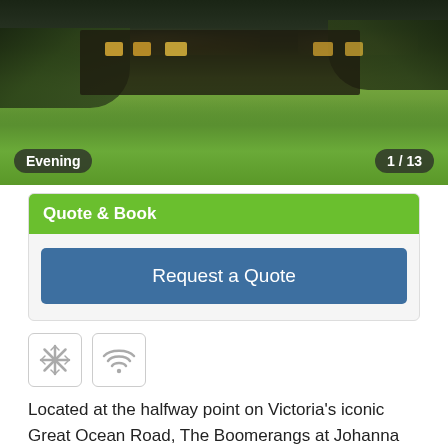[Figure (photo): Exterior evening photo of The Boomerangs at Johanna property showing buildings with warm lights against green lawn and trees. Badge labels: 'Evening' bottom-left, '1 / 13' bottom-right.]
Quote & Book
Request a Quote
[Figure (infographic): Two icon boxes: snowflake/air-conditioning icon and wifi icon]
Located at the halfway point on Victoria's iconic Great Ocean Road, The Boomerangs at Johanna offers unique, architectural designed boomerang-shaped cottages that maximize the stunning valley, forest and ocean views. A member of Australia's Unique Boutique Collection, Boomerangs offers a quintessentially Australian